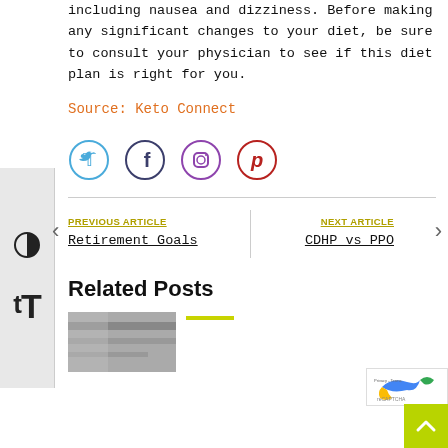including nausea and dizziness. Before making any significant changes to your diet, be sure to consult your physician to see if this diet plan is right for you.
Source: Keto Connect
[Figure (infographic): Row of four social media icon circles: Twitter (blue), Facebook (dark blue), Instagram (purple-red gradient), Pinterest (red)]
PREVIOUS ARTICLE
Retirement Goals
NEXT ARTICLE
CDHP vs PPO
Related Posts
[Figure (photo): Partial thumbnail of a related post image at bottom left]